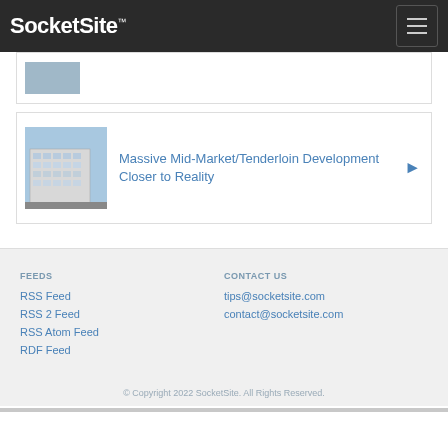SocketSite™
[Figure (screenshot): Partial article card with thumbnail image (cropped, mostly cut off at top)]
[Figure (photo): Building photo thumbnail showing a modern multi-story development]
Massive Mid-Market/Tenderloin Development Closer to Reality
FEEDS
RSS Feed
RSS 2 Feed
RSS Atom Feed
RDF Feed
CONTACT US
tips@socketsite.com
contact@socketsite.com
© Copyright 2022 SocketSite. All Rights Reserved.